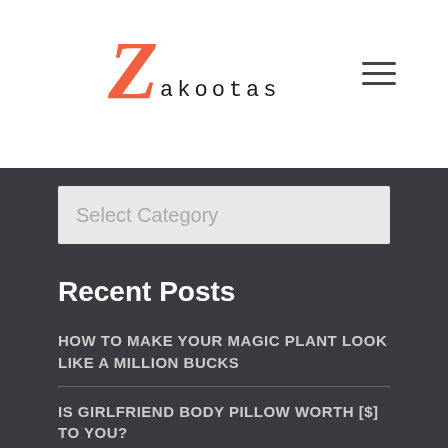[Figure (logo): Zakootas website logo — large orange italic Z followed by 'akootas' in monospace text]
[Figure (illustration): Hamburger menu icon (three horizontal lines)]
Select Category
Recent Posts
HOW TO MAKE YOUR MAGIC PLANT LOOK LIKE A MILLION BUCKS
IS GIRLFRIEND BODY PILLOW WORTH [$] TO YOU?
WHERE CAN YOU FIND CHEAP COUPLE NECKLACE FOR LONG DISTANCE